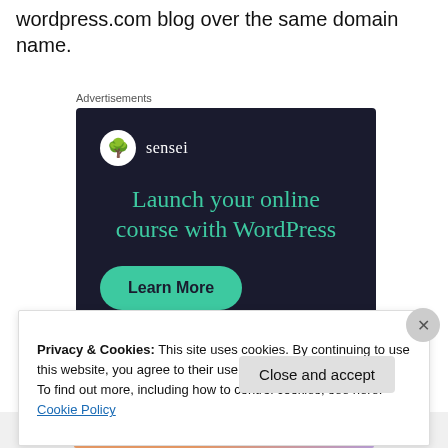wordpress.com blog over the same domain name.
Advertisements
[Figure (screenshot): Sensei advertisement banner on dark navy background. Shows Sensei logo (tree icon in circle) with text 'Launch your online course with WordPress' in teal, and a 'Learn More' teal rounded button.]
Privacy & Cookies: This site uses cookies. By continuing to use this website, you agree to their use.
To find out more, including how to control cookies, see here: Cookie Policy